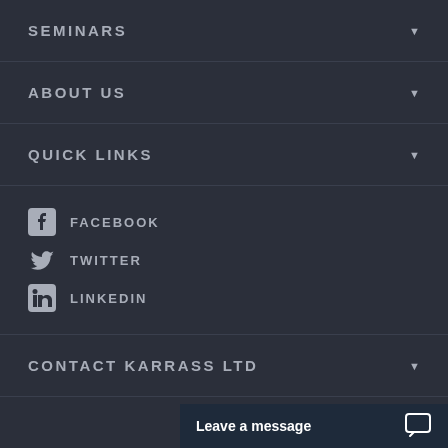SEMINARS
ABOUT US
QUICK LINKS
FACEBOOK
TWITTER
LINKEDIN
CONTACT KARRASS LTD
Leave a message